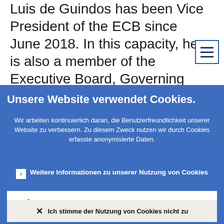Luis de Guindos has been Vice President of the ECB since June 2018. In this capacity, he is also a member of the Executive Board, Governing Council and General Council of
Unsere Website verwendet Cookies.
Wir arbeiten kontinuierlich daran, die Benutzerfreundlichkeit unserer Website zu verbessern. Zu diesem Zweck nutzen wir durch Cookies erfasste anonymisierte Daten.
Weitere Informationen zu unserer Nutzung von Cookies
Ich verstehe und stimme der Nutzung von Cookies zu
Ich stimme der Nutzung von Cookies nicht zu